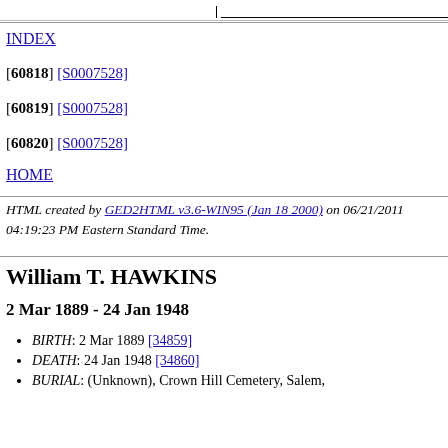[60818] [S0007528]
[60819] [S0007528]
[60820] [S0007528]
INDEX
HOME
HTML created by GED2HTML v3.6-WIN95 (Jan 18 2000) on 06/21/2011 04:19:23 PM Eastern Standard Time.
William T. HAWKINS
2 Mar 1889 - 24 Jan 1948
BIRTH: 2 Mar 1889 [34859]
DEATH: 24 Jan 1948 [34860]
BURIAL: (Unknown), Crown Hill Cemetery, Salem,